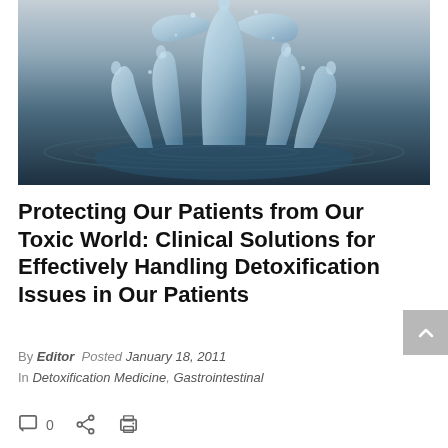[Figure (photo): Water splash forming a crown shape against a dark blue-gray background]
Protecting Our Patients from Our Toxic World: Clinical Solutions for Effectively Handling Detoxification Issues in Our Patients
By Editor  Posted January 18, 2011
 In Detoxification Medicine, Gastrointestinal